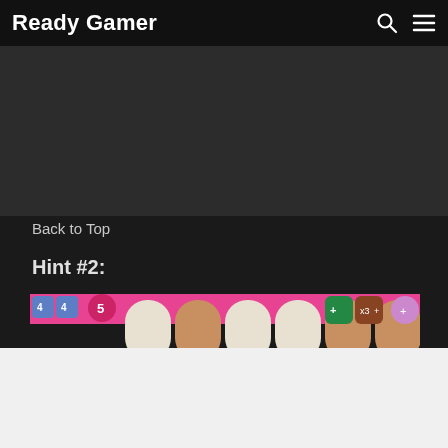Ready Gamer
Back to Top
Hint #2:
[Figure (screenshot): Screenshot of Candy Crush Saga gameplay showing the top portion of a level. A pink banner at the top with candy dispensers, colorful candy pieces (blue, orange, green, purple) visible on the board. A moves counter showing '8' moves left and score '72 240' in the top left corner.]